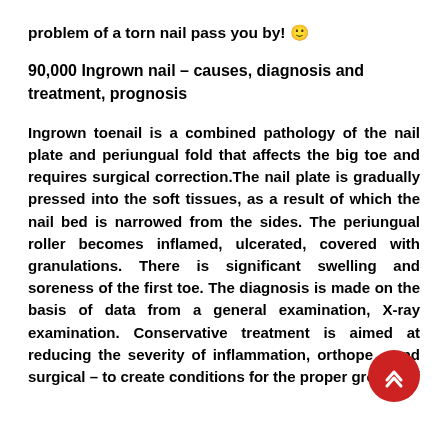problem of a torn nail pass you by! 🙂
90,000 Ingrown nail – causes, diagnosis and treatment, prognosis
Ingrown toenail is a combined pathology of the nail plate and periungual fold that affects the big toe and requires surgical correction.The nail plate is gradually pressed into the soft tissues, as a result of which the nail bed is narrowed from the sides. The periungual roller becomes inflamed, ulcerated, covered with granulations. There is significant swelling and soreness of the first toe. The diagnosis is made on the basis of data from a general examination, X-ray examination. Conservative treatment is aimed at reducing the severity of inflammation, orthopedic and surgical – to create conditions for the proper growth of